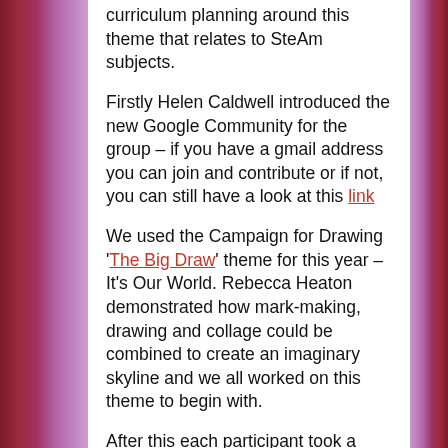curriculum planning around this theme that relates to SteAm subjects.
Firstly Helen Caldwell introduced the new Google Community for the group – if you have a gmail address you can join and contribute or if not, you can still have a look at this link
We used the Campaign for Drawing 'The Big Draw' theme for this year – It's Our World. Rebecca Heaton demonstrated how mark-making, drawing and collage could be combined to create an imaginary skyline and we all worked on this theme to begin with.
After this each participant took a photo of their artwork and we tried some different apps to manipulate the images. Jean Edwards introduced the app 'Fragment'. This app allows you to open upshapes within the image and manipulate size, orientation and colours. You can see a brief guide to